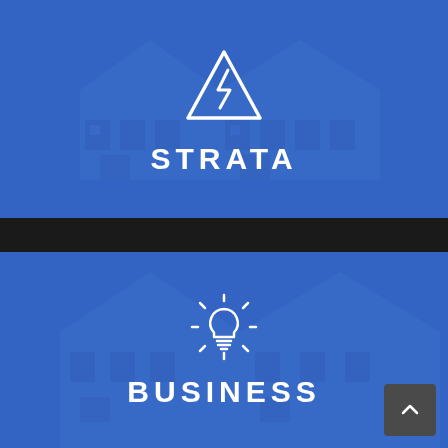[Figure (illustration): Blue background with semi-transparent building/house photo, white electrical hazard triangle icon (lightning bolt inside triangle)]
STRATA
[Figure (illustration): Dark divider bar separating two sections]
[Figure (illustration): Blue background with semi-transparent building photo, white lightbulb icon with rays]
BUSINESS